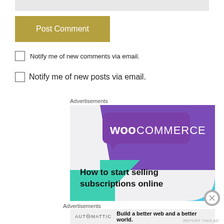[Figure (screenshot): Gray top bar partial element]
Post Comment
Notify me of new comments via email.
Notify me of new posts via email.
Advertisements
[Figure (screenshot): WooCommerce advertisement banner with purple speech bubble logo and teal triangle shapes. Text reads: How to start selling subscriptions online]
Advertisements
[Figure (screenshot): Automattic advertisement: Build a better web and a better world.]
REPORT THIS AD